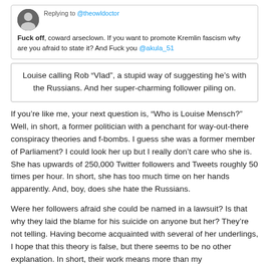[Figure (screenshot): Screenshot of a tweet replying to @theowldoctor with offensive text and mention of @akula_51]
Louise calling Rob “Vlad”, a stupid way of suggesting he’s with the Russians. And her super-charming follower piling on.
If you’re like me, your next question is, “Who is Louise Mensch?” Well, in short, a former politician with a penchant for way-out-there conspiracy theories and f-bombs. I guess she was a former member of Parliament? I could look her up but I really don’t care who she is. She has upwards of 250,000 Twitter followers and Tweets roughly 50 times per hour. In short, she has too much time on her hands apparently. And, boy, does she hate the Russians.
Were her followers afraid she could be named in a lawsuit? Is that why they laid the blame for his suicide on anyone but her? They’re not telling. Having become acquainted with several of her underlings, I hope that this theory is false, but there seems to be no other explanation. In short, their work means more than my